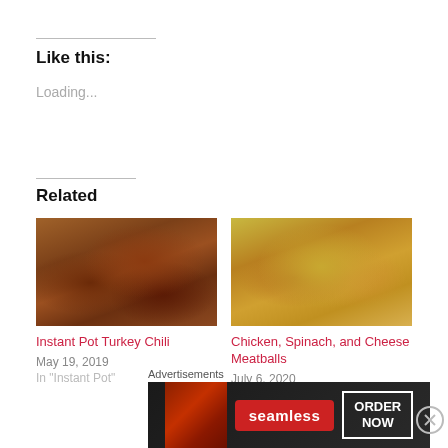Like this:
Loading...
Related
[Figure (photo): Close-up photo of Instant Pot Turkey Chili with kidney beans and ground turkey]
Instant Pot Turkey Chili
May 19, 2019
[Figure (photo): Photo of Chicken, Spinach, and Cheese Meatballs served over rotini pasta in a white bowl]
Chicken, Spinach, and Cheese Meatballs
July 6, 2020
Advertisements
[Figure (other): Seamless food delivery advertisement banner with pizza image and ORDER NOW button]